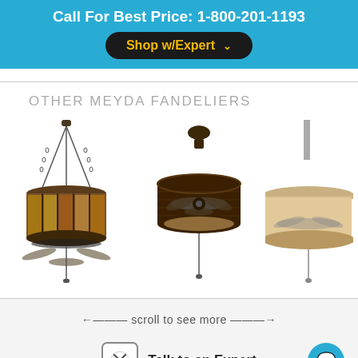Call For Best Price: 1-800-201-1193
Shop w/Expert
OTHER MEYDA FANDELIERS
[Figure (photo): Three Meyda Fandelier ceiling fan/chandelier products shown in a horizontal row. Left: a decorative drum-style chandelier with nature/pinecone stained glass panels and hanging chains. Center: a dark bronze round enclosed ceiling fan with visible blades behind a ring. Right: a partial view of a tan/cream drum-shaped ceiling fan.]
←--- scroll to see more ---→
Talk to an Expert